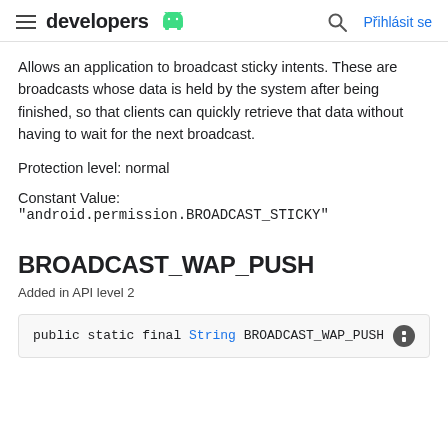developers  Přihlásit se
Allows an application to broadcast sticky intents. These are broadcasts whose data is held by the system after being finished, so that clients can quickly retrieve that data without having to wait for the next broadcast.
Protection level: normal
Constant Value:
"android.permission.BROADCAST_STICKY"
BROADCAST_WAP_PUSH
Added in API level 2
public static final String BROADCAST_WAP_PUSH